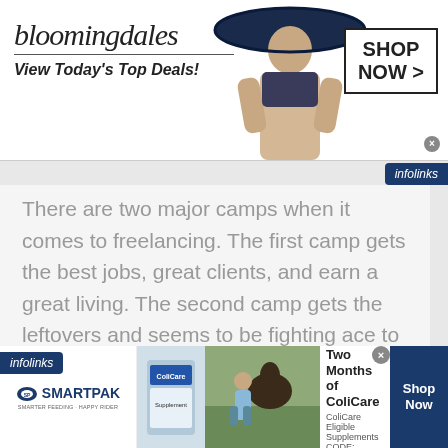[Figure (screenshot): Bloomingdale's advertisement banner with logo, 'View Today's Top Deals!' tagline, fashion model with large hat, and 'SHOP NOW >' button]
[Figure (logo): Infolinks badge top right]
There are two major camps when it comes to freelancing. The first camp gets the best jobs, great clients, and earn a great living. The second camp gets the leftovers and seems to be fighting ace to the bottom. Penny pinching clients.
[Figure (logo): Infolinks badge mid left]
[Figure (screenshot): SmartPak advertisement with '50% Off Two Months of ColiCare' offer, ColiCare Eligible Supplements, CODE: COLICARE10, Shop Now button]